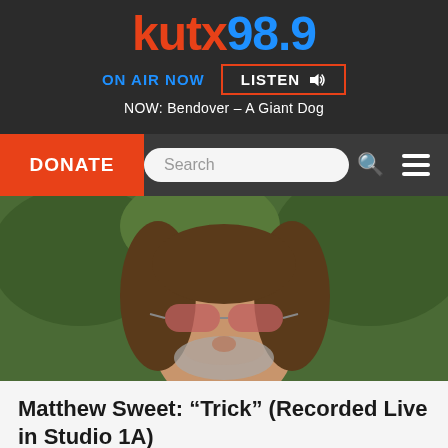kutx98.9
ON AIR NOW   LISTEN
NOW: Bendover - A Giant Dog
DONATE
[Figure (photo): Close-up photo of a man with long brown hair and a grey beard, wearing pink-tinted sunglasses and a dark jacket, photographed outdoors with green foliage in the background.]
Matthew Sweet: “Trick” (Recorded Live in Studio 1A)
He’s back and sweeter than ever! Get a live, free […]
July 27, 2017   Song of the Day